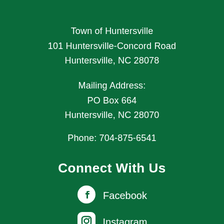Town of Huntersville
101 Huntersville-Concord Road
Huntersville, NC 28078
Mailing Address:
PO Box 664
Huntersville, NC 28070
Phone: 704-875-6541
Connect With Us
Facebook
Instagram
LinkedIn